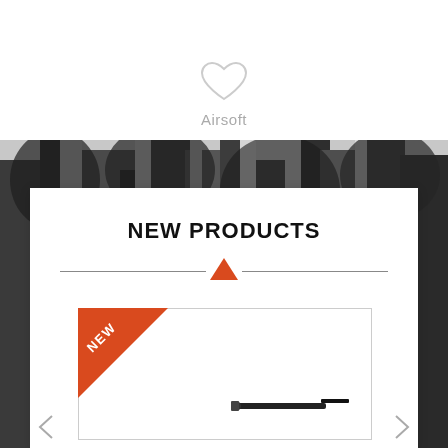[Figure (illustration): Heart/shield icon above Airsoft label]
Airsoft
[Figure (photo): Black and white forest/trees background photo]
NEW PRODUCTS
[Figure (illustration): Product card with orange corner NEW badge and partial rifle image visible at bottom right]
[Figure (illustration): Left navigation arrow]
[Figure (illustration): Right navigation arrow]